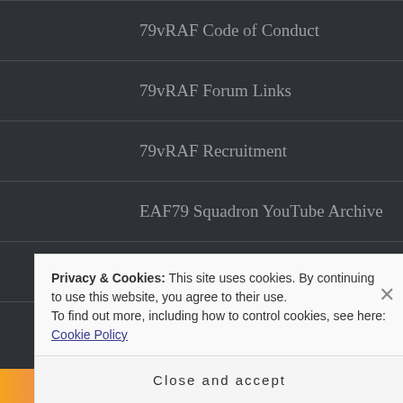79vRAF Code of Conduct
79vRAF Forum Links
79vRAF Recruitment
EAF79 Squadron YouTube Archive
Contact 79vRAF
Privacy & Cookies: This site uses cookies. By continuing to use this website, you agree to their use.
To find out more, including how to control cookies, see here: Cookie Policy
Close and accept